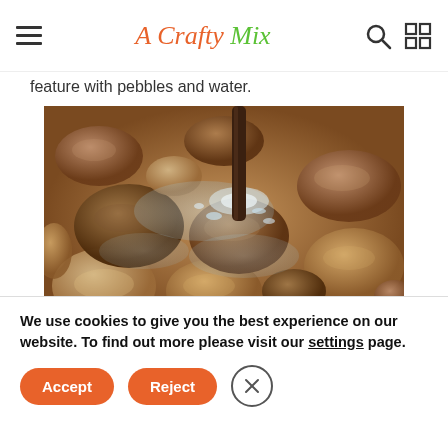A Crafty Mix
feature with pebbles and water.
[Figure (photo): Close-up photo of rounded river pebbles/stones submerged in flowing water in a shallow bowl or basin, with a dark vertical rod/pipe in the center, showing a water fountain feature]
We use cookies to give you the best experience on our website. To find out more please visit our settings page.